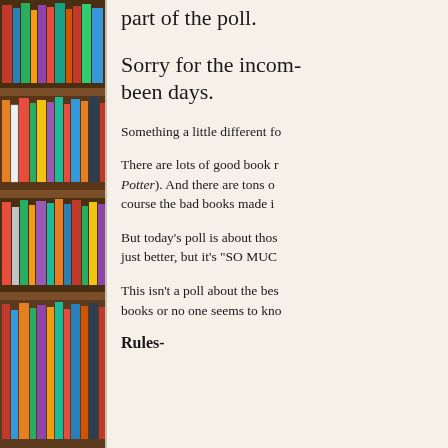[Figure (photo): Bookshelf filled with colorful books arranged on wooden shelves, viewed from the side]
part of the poll.
Sorry for the incon- been days.
Something a little different fo
There are lots of good book r Potter). And there are tons of course the bad books made i
But today's poll is about thos just better, but it's "SO MUC
This isn't a poll about the bes books or no one seems to kno
Rules-